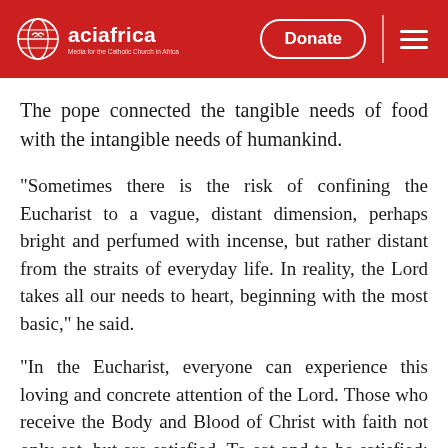aciafrica | Donate
The pope connected the tangible needs of food with the intangible needs of humankind.
“Sometimes there is the risk of confining the Eucharist to a vague, distant dimension, perhaps bright and perfumed with incense, but rather distant from the straits of everyday life. In reality, the Lord takes all our needs to heart, beginning with the most basic,” he said.
“In the Eucharist, everyone can experience this loving and concrete attention of the Lord. Those who receive the Body and Blood of Christ with faith not only eat, but are satisfied. To eat and to be satisfied: These are two basic necessities that are satisfied in the